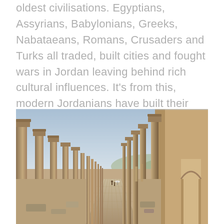oldest civilisations. Egyptians, Assyrians, Babylonians, Greeks, Nabataeans, Romans, Crusaders and Turks all traded, built cities and fought wars in Jordan leaving behind rich cultural influences. It's from this, modern Jordanians have built their identity.
[Figure (photo): A long colonnaded street (cardo) with ancient Roman columns on both sides stretching into the distance, stone-paved road, blue sky, ruins of Jerash, Jordan.]